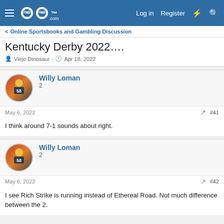GOG.com — Log in | Register
Online Sportsbooks and Gambling Discussion
Kentucky Derby 2022….
Viejo Dinosaur · Apr 18, 2022
Willy Loman
2
May 6, 2022  #41
I think around 7-1 sounds about right.
Willy Loman
2
May 6, 2022  #42
I see Rich Strike is running instead of Ethereal Road. Not much difference between the 2.